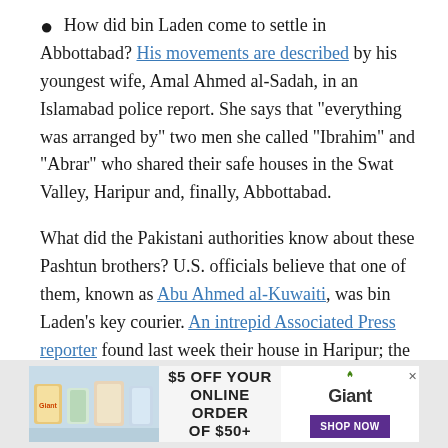How did bin Laden come to settle in Abbottabad? His movements are described by his youngest wife, Amal Ahmed al-Sadah, in an Islamabad police report. She says that “everything was arranged by” two men she called “Ibrahim” and “Abrar” who shared their safe houses in the Swat Valley, Haripur and, finally, Abbottabad.
What did the Pakistani authorities know about these Pashtun brothers? U.S. officials believe that one of them, known as Abu Ahmed al-Kuwaiti, was bin Laden’s key courier. An intrepid Associated Press reporter found last week their house in Haripur; the real estate broker said he had rented it to “Salim and Javed Khan,” who claimed to be from Charsadda, just north of Peshawar.
[Figure (other): Advertisement banner: '$5 OFF YOUR ONLINE ORDER OF $50+' with Giant supermarket logo and 'SHOP NOW' button, alongside grocery product images]